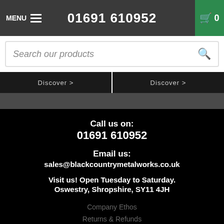MENU  01691 610952  0
Search our products
Discover >  Discover >
Call us on:
01691 610952

Email us:
sales@blackcountrymetalworks.co.uk

Visit us! Open Tuesday to Saturday.
Oswestry, Shropshire, SY11 4JH
Company Ethos
Returns & Refunds
Delivery
Expert Info
We use cookies on this site for a greater user experience, to find out more, view our cookie policy.
(close)